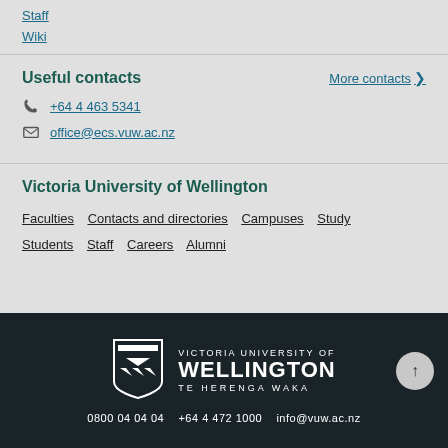Staff
Wiki
Useful contacts
More contacts
+64 4 463 5341
office@ecs.vuw.ac.nz
Victoria University of Wellington
Faculties
Contacts and directories
Campuses
Study
Students
Staff
Careers
Alumni
[Figure (logo): Victoria University of Wellington Te Herenga Waka shield logo with white text on dark background]
0800 04 04 04   +64 4 472 1000   info@vuw.ac.nz